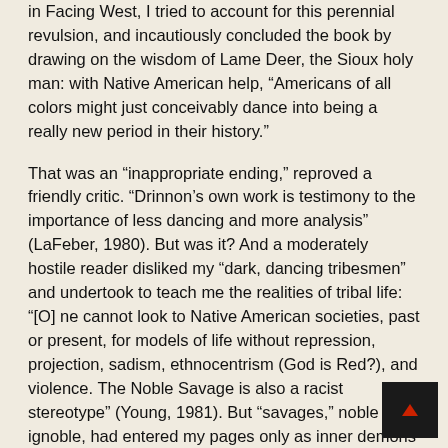in Facing West, I tried to account for this perennial revulsion, and incautiously concluded the book by drawing on the wisdom of Lame Deer, the Sioux holy man: with Native American help, “Americans of all colors might just conceivably dance into being a really new period in their history.”
That was an “inappropriate ending,” reproved a friendly critic. “Drinnon’s own work is testimony to the importance of less dancing and more analysis” (LaFeber, 1980). But was it? And a moderately hostile reader disliked my “dark, dancing tribesmen” and undertook to teach me the realities of tribal life: “[O] ne cannot look to Native American societies, past or present, for models of life without repression, projection, sadism, ethnocentrism (God is Red?), and violence. The Noble Savage is also a racist stereotype” (Young, 1981). But “savages,” noble or ignoble, had entered my pages only as inner demons of the white invaders, so why this defensiveness and misdirected admonition?